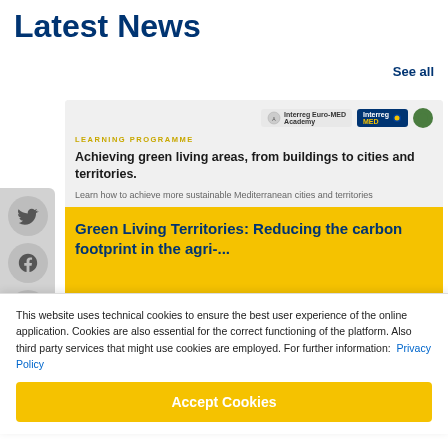Latest News
See all
[Figure (screenshot): News card with Interreg MED Academy logo, LEARNING PROGRAMME label, article titled 'Achieving green living areas, from buildings to cities and territories.' with description 'Learn how to achieve more sustainable Mediterranean cities and territories', and yellow section with title 'Green Living Territories: Reducing the carbon footprint in the agri-...']
This website uses technical cookies to ensure the best user experience of the online application. Cookies are also essential for the correct functioning of the platform. Also third party services that might use cookies are employed. For further information:  Privacy Policy
Accept Cookies